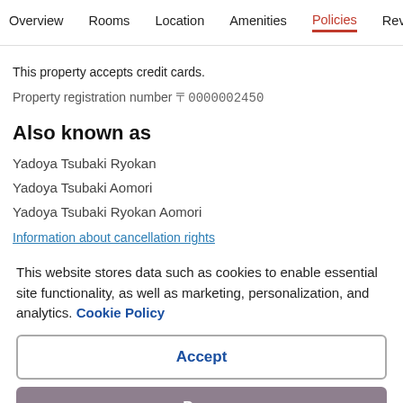Overview  Rooms  Location  Amenities  Policies  Reviews
This property accepts credit cards.
Property registration number 〒0000002450
Also known as
Yadoya Tsubaki Ryokan
Yadoya Tsubaki Aomori
Yadoya Tsubaki Ryokan Aomori
Information about cancellation rights
This website stores data such as cookies to enable essential site functionality, as well as marketing, personalization, and analytics. Cookie Policy
Accept
Deny